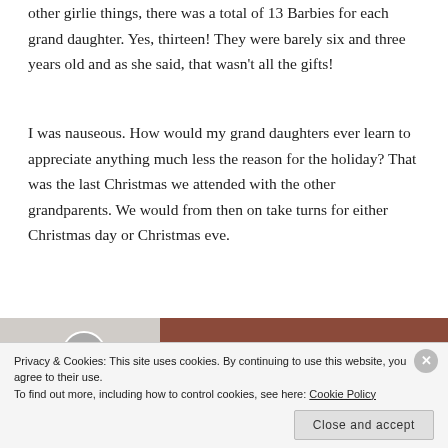other girlie things, there was a total of 13 Barbies for each grand daughter. Yes, thirteen! They were barely six and three years old and as she said, that wasn't all the gifts!
I was nauseous. How would my grand daughters ever learn to appreciate anything much less the reason for the holiday? That was the last Christmas we attended with the other grandparents. We would from then on take turns for either Christmas day or Christmas eve.
[Figure (photo): Partial view of images at bottom of page partially obscured by cookie banner — a circular avatar/profile image on the left and a darker rectangular photo on the right.]
Privacy & Cookies: This site uses cookies. By continuing to use this website, you agree to their use.
To find out more, including how to control cookies, see here: Cookie Policy
Close and accept